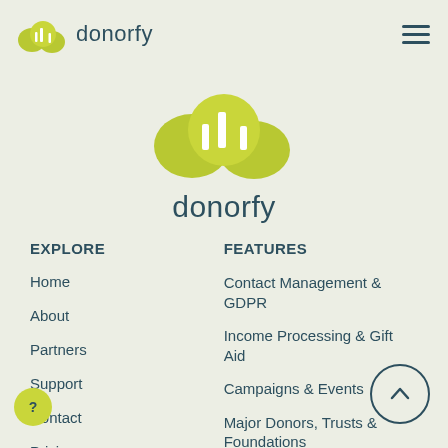donorfy
[Figure (logo): Donorfy logo centered — yellow-green cloud/tree icon above the word 'donorfy' in dark teal]
EXPLORE
Home
About
Partners
Support
Contact
Pricing
Onboarding
FEATURES
Contact Management & GDPR
Income Processing & Gift Aid
Campaigns & Events
Major Donors, Trusts & Foundations
Reporting & Analytics